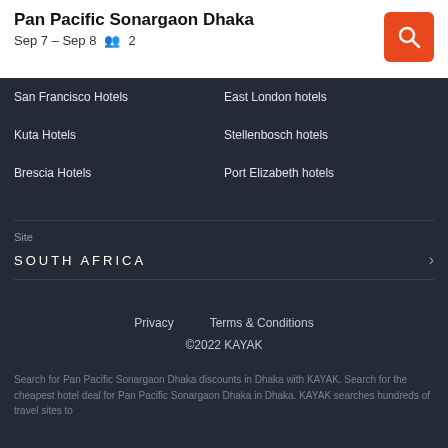Pan Pacific Sonargaon Dhaka
Sep 7 – Sep 8   👥 2
San Francisco Hotels
East London hotels
Kuta Hotels
Stellenbosch hotels
Brescia Hotels
Port Elizabeth hotels
Site
SOUTH AFRICA
Privacy   Terms & Conditions
©2022 KAYAK
Search for Pan Pacific Sonargaon Dhaka discounts in Dhaka with KAYAK. Search for the cheapest hotel deal for Pan Pacific Sonargaon Dhaka in Dhaka. KAYAK searches hundreds of travel sites to